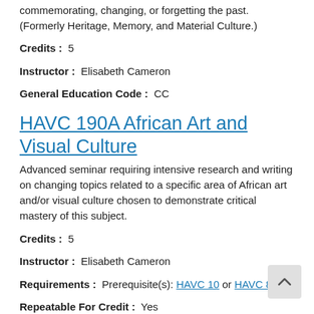commemorating, changing, or forgetting the past. (Formerly Heritage, Memory, and Material Culture.)
Credits :  5
Instructor :  Elisabeth Cameron
General Education Code :  CC
HAVC 190A African Art and Visual Culture
Advanced seminar requiring intensive research and writing on changing topics related to a specific area of African art and/or visual culture chosen to demonstrate critical mastery of this subject.
Credits :  5
Instructor :  Elisabeth Cameron
Requirements :  Prerequisite(s): HAVC 10 or HAVC 80.
Repeatable For Credit :  Yes